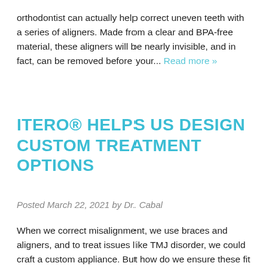orthodontist can actually help correct uneven teeth with a series of aligners. Made from a clear and BPA-free material, these aligners will be nearly invisible, and in fact, can be removed before your... Read more »
ITERO® HELPS US DESIGN CUSTOM TREATMENT OPTIONS
Posted March 22, 2021 by Dr. Cabal
When we correct misalignment, we use braces and aligners, and to treat issues like TMJ disorder, we could craft a custom appliance. But how do we ensure these fit